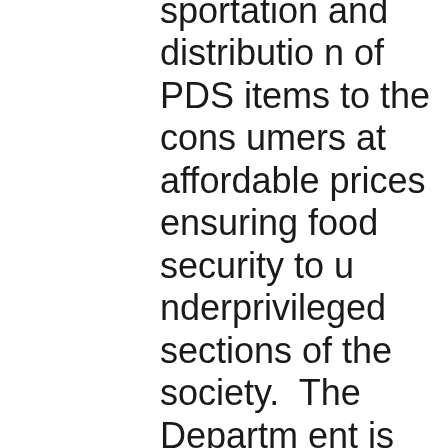sportation and distribution of PDS items to the consumers at affordable prices ensuring food security to underprivileged sections of the society. The Department is also responsible for the formulation of policies for monitoring prices, availability of all essential commodities, consumer movement enforces the Essential Commodities Act 1955 and controls orders issued thereunder to ensure proper control of the Supply various distribution, trade and commerce in certain co